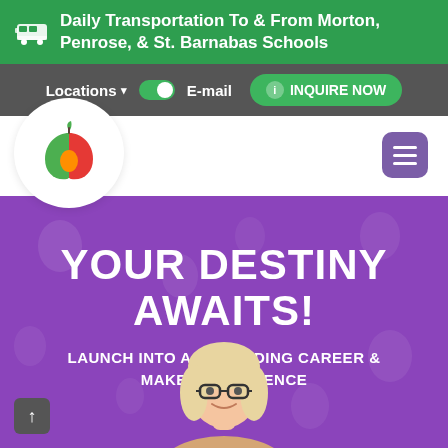Daily Transportation To & From Morton, Penrose, & St. Barnabas Schools
Locations  E-mail  INQUIRE NOW
[Figure (logo): Colorful apple logo with red, green, and orange design forming a stylized apple shape with a leaf]
YOUR DESTINY AWAITS!
LAUNCH INTO A REWARDING CAREER & MAKE A DIFFERENCE
[Figure (photo): A smiling blonde woman wearing glasses, photographed from shoulders up against the purple background]
↑